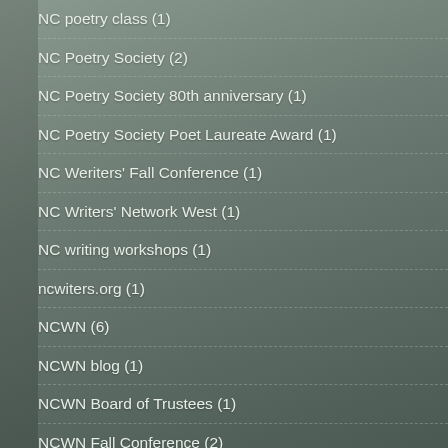NC poetry class (1)
NC Poetry Society (2)
NC Poetry Society 80th anniversary (1)
NC Poetry Society Poet Laureate Award (1)
NC Weriters' Fall Conference (1)
NC Writers' Network West (1)
NC writing workshops (1)
ncwiters.org (1)
NCWN (6)
NCWN blog (1)
NCWN Board of Trustees (1)
NCWN Fall Conference (2)
NCWN Spring Conference (3)
NCWN West (9)
NCWN West member (2)
NCWN writing contests (1)
NCWN-West (2)
NEA (1)
negative thoughts (1)